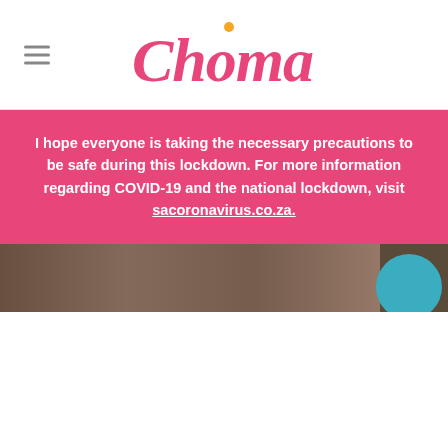Choma
I hope everyone is taking the necessary precautions to be safe during this lockdown. For more information regarding COVID-19 and the national lockdown, visit sacoronavirus.co.za.
[Figure (photo): Partial image of cooking pots/pans in a kitchen, partially obscured by the pink banner overlay. A teal circular button is visible in the upper-right area.]
[Figure (infographic): Row of social sharing buttons: share (green), Facebook (blue), Twitter (light blue), LinkedIn (blue), Pinterest (red), Email (grey)]